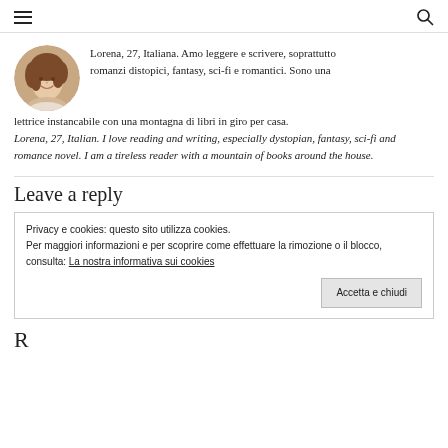≡  🔍
[Figure (photo): Circular avatar photo of a young woman with curly brown hair, smiling, wearing a light top]
Lorena, 27, Italiana. Amo leggere e scrivere, soprattutto romanzi distopici, fantasy, sci-fi e romantici. Sono una lettrice instancabile con una montagna di libri in giro per casa. Lorena, 27, Italian. I love reading and writing, especially dystopian, fantasy, sci-fi and romance novel. I am a tireless reader with a mountain of books around the house.
Leave a reply
Privacy e cookies: questo sito utilizza cookies.
Per maggiori informazioni e per scoprire come effettuare la rimozione o il blocco, consulta: La nostra informativa sui cookies
Accetta e chiudi
R